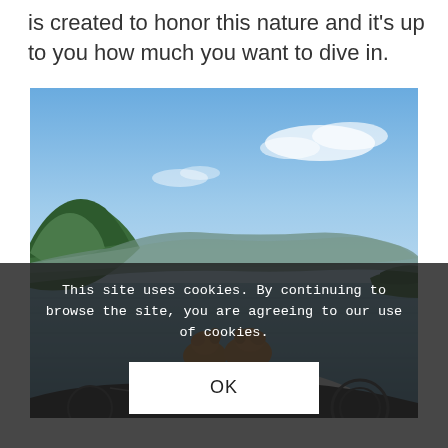is created to honor this nature and it's up to you how much you want to dive in.
[Figure (photo): Two golden retrievers sitting at the front of a small motorboat on a calm lake with mountains and forested shoreline in the background under a blue sky.]
This site uses cookies. By continuing to browse the site, you are agreeing to our use of cookies.
OK